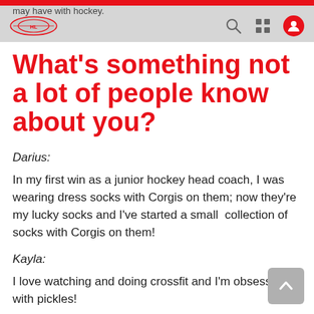may have with hockey.
What's something not a lot of people know about you?
Darius:
In my first win as a junior hockey head coach, I was wearing dress socks with Corgis on them; now they're my lucky socks and I've started a small collection of socks with Corgis on them!
Kayla:
I love watching and doing crossfit and I'm obsessed with pickles!